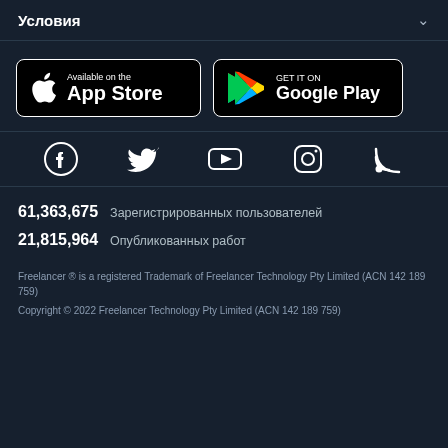Условия
[Figure (logo): App Store badge - Available on the App Store]
[Figure (logo): Google Play badge - GET IT ON Google Play]
[Figure (infographic): Social media icons: Facebook, Twitter, YouTube, Instagram, RSS]
61,363,675  Зарегистрированных пользователей
21,815,964  Опубликованных работ
Freelancer ® is a registered Trademark of Freelancer Technology Pty Limited (ACN 142 189 759)
Copyright © 2022 Freelancer Technology Pty Limited (ACN 142 189 759)